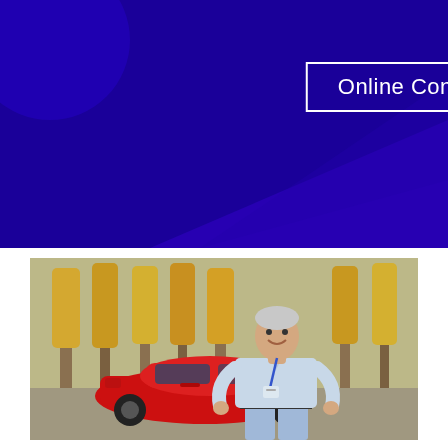Online Contact Form
[Figure (photo): A smiling middle-aged man with white hair wearing a light blue dress shirt and a blue lanyard with a name badge, standing with hands on hips in front of a red compact car in an autumn parking lot with tall yellow-leaved trees in the background.]